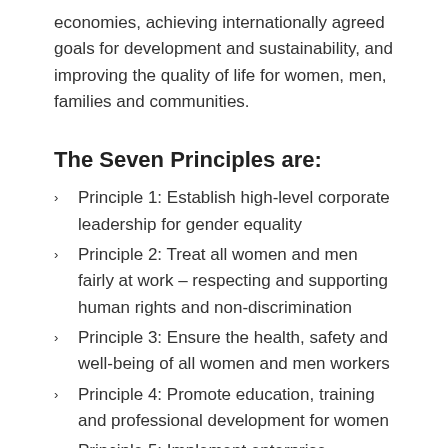economies, achieving internationally agreed goals for development and sustainability, and improving the quality of life for women, men, families and communities.
The Seven Principles are:
Principle 1: Establish high-level corporate leadership for gender equality
Principle 2: Treat all women and men fairly at work – respecting and supporting human rights and non-discrimination
Principle 3: Ensure the health, safety and well-being of all women and men workers
Principle 4: Promote education, training and professional development for women
Principle 5: Implement enterprise development, supply chain and marketing practices that